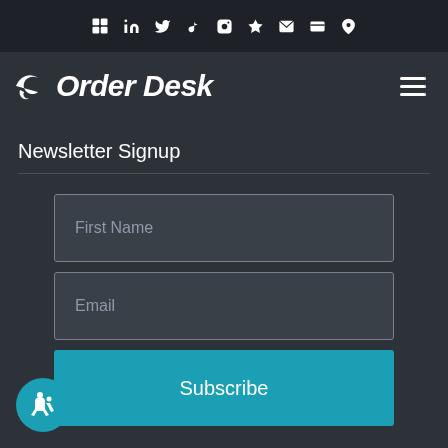in  Twitter  TikTok  Instagram  Etsy  Email  Blog  Map
[Figure (logo): Order Desk logo with wings icon on left side of navigation bar]
Newsletter Signup
[Figure (screenshot): Newsletter signup form with First Name input field, Email input field, and Subscribe button]
[Figure (other): Accessibility icon button (wheelchair user symbol) in teal circle at bottom left]